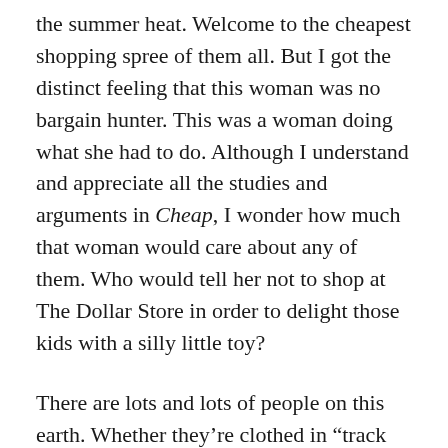the summer heat. Welcome to the cheapest shopping spree of them all. But I got the distinct feeling that this woman was no bargain hunter. This was a woman doing what she had to do. Although I understand and appreciate all the studies and arguments in Cheap, I wonder how much that woman would care about any of them. Who would tell her not to shop at The Dollar Store in order to delight those kids with a silly little toy?
There are lots and lots of people on this earth. Whether they're clothed in “track suits,” Goodwill cast-offs, or they're toting Plino Visona handbags, they all want food and shelter, which presents us with immense and complex problems. We won’t find the answers within the inviting aisles of a Wegmans.